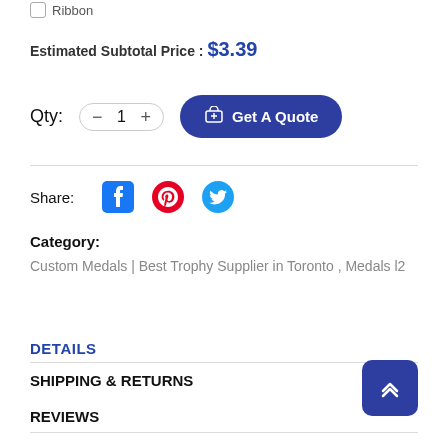Ribbon
Estimated Subtotal Price : $3.39
Qty: 1  Get A Quote
Share:
Category:
Custom Medals | Best Trophy Supplier in Toronto , Medals l2
DETAILS
SHIPPING & RETURNS
REVIEWS